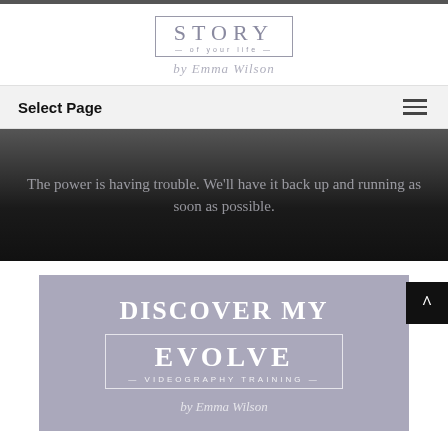[Figure (logo): Story of Your Life logo — STORY in serif caps inside a rectangle border, 'of your life' in small spaced caps, and cursive 'by Emma Wilson' beneath]
Select Page
The power is having trouble. We'll have it back up and running as soon as possible.
[Figure (illustration): Discover My EVOLVE Videography Training promotional card on purple-gray background, with cursive byline beneath]
DISCOVER MY
EVOLVE
—VIDEOGRAPHY TRAINING—